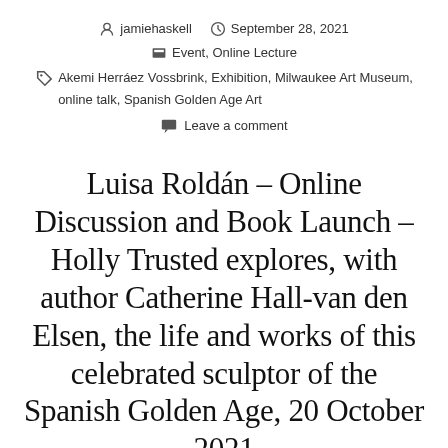jamiehaskell   September 28, 2021   Event, Online Lecture   Akemi Herráez Vossbrink, Exhibition, Milwaukee Art Museum, online talk, Spanish Golden Age Art   Leave a comment
Luisa Roldán – Online Discussion and Book Launch – Holly Trusted explores, with author Catherine Hall-van den Elsen, the life and works of this celebrated sculptor of the Spanish Golden Age, 20 October 2021